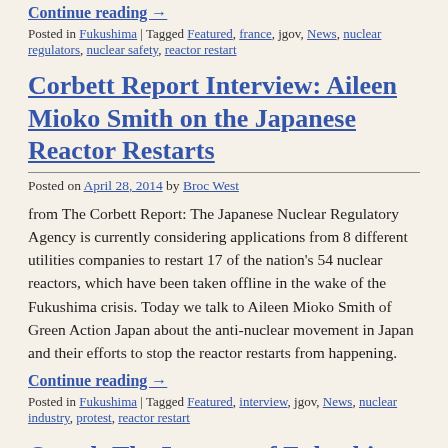Continue reading →
Posted in Fukushima | Tagged Featured, france, jgov, News, nuclear regulators, nuclear safety, reactor restart
Corbett Report Interview: Aileen Mioko Smith on the Japanese Reactor Restarts
Posted on April 28, 2014 by Broc West
from The Corbett Report: The Japanese Nuclear Regulatory Agency is currently considering applications from 8 different utilities companies to restart 17 of the nation's 54 nuclear reactors, which have been taken offline in the wake of the Fukushima crisis. Today we talk to Aileen Mioko Smith of Green Action Japan about the anti-nuclear movement in Japan and their efforts to stop the reactor restarts from happening.
Continue reading →
Posted in Fukushima | Tagged Featured, interview, jgov, News, nuclear industry, protest, reactor restart
Op-ed: The Lessons of Fukushima and Proposed Reactor Restarts